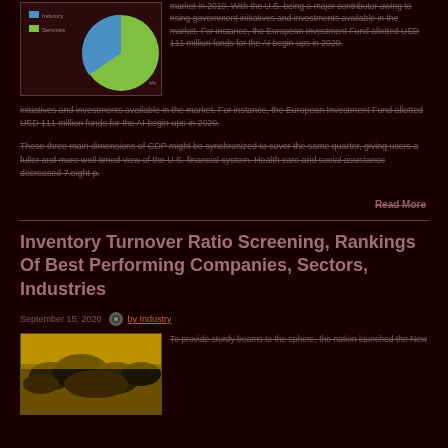[Figure (pie-chart): Pie chart with legend showing Industry (blue) and Services (green) categories. Large green pie slice visible.]
market in 2019. With the U.S. being a major contributor owing to rising government initiatives and investments available in the market. For instance, the European Investment Fund allotted USD 111 million funds for the AI begin-ups in 2020.
These three main dimensions of GDP might be synchronized to cover the same quarter, giving users a fuller and more well timed view of the U.S. financial system. Health care and social assistance decreased 7.eight p.
Read More
Inventory Turnover Ratio Screening, Rankings Of Best Performing Companies, Sectors, Industries
September 15, 2020
by Industry
[Figure (photo): Photo of dark clouds or smoke against a yellowish-gold sky background.]
To provide sturdy beams to the sphere, the nation launched the New